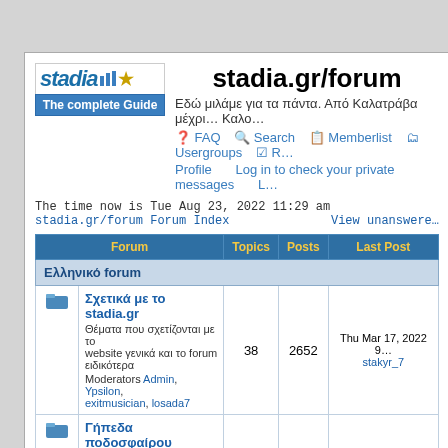stadia.gr/forum
Εδώ μιλάμε για τα πάντα. Από Καλατράβα μέχρι… Καλο…
FAQ  Search  Memberlist  Usergroups  R…  Profile  Log in to check your private messages  L…
The time now is Tue Aug 23, 2022 11:29 am
stadia.gr/forum Forum Index  View unanswere…
| Forum | Topics | Posts | Last Post |
| --- | --- | --- | --- |
| Ελληνικό forum |  |  |  |
| Σχετικά με το stadia.gr
Θέματα που σχετίζονται με το website γενικά και το forum ειδικότερα
Moderators Admin, Ypsilon, exitmusician, losada7 | 38 | 2652 | Thu Mar 17, 2022 9…
stakyr_7 |
| Γήπεδα ποδοσφαίρου
Ό,τι αφορά τα ποδοσφαιρικά στάδια της Ελλάδας και του εξωτερικού
Moderators Admin, Ypsilon… | 70 | 23022 | Wed Aug 04, 2021 1…
petalo |